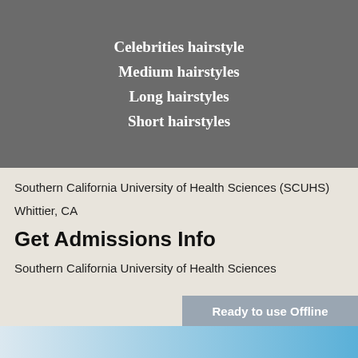Celebrities hairstyle
Medium hairstyles
Long hairstyles
Short hairstyles
Southern California University of Health Sciences (SCUHS)
Whittier, CA
Get Admissions Info
Southern California University of Health Sciences
Ready to use Offline